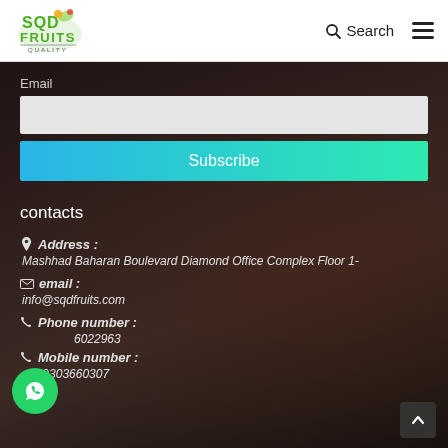SQD Fruits — Search header
Email
Subscribe
contacts
Address :
Mashhad Baharan Boulevard Diamond Office Complex Floor 1-
email :
info@sqdfruits.com
Phone number :
6022963
Mobile number :
+989303660307